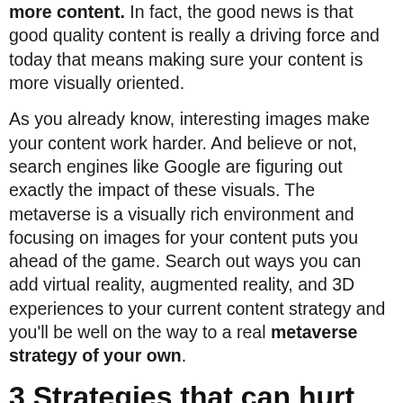more content. In fact, the good news is that good quality content is really a driving force and today that means making sure your content is more visually oriented.
As you already know, interesting images make your content work harder. And believe or not, search engines like Google are figuring out exactly the impact of these visuals. The metaverse is a visually rich environment and focusing on images for your content puts you ahead of the game. Search out ways you can add virtual reality, augmented reality, and 3D experiences to your current content strategy and you'll be well on the way to a real metaverse strategy of your own.
3 Strategies that can hurt you
Let’s face it, there is a dizzying amount of change you’re already dealing with. Less than a generation ago, a